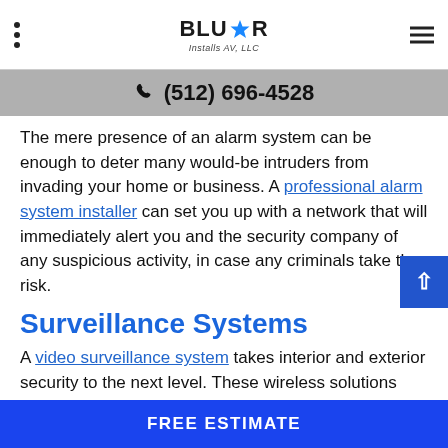BluStar Installs AV, LLC
(512) 696-4528
The mere presence of an alarm system can be enough to deter many would-be intruders from invading your home or business. A professional alarm system installer can set you up with a network that will immediately alert you and the security company of any suspicious activity, in case any criminals take the risk.
Surveillance Systems
A video surveillance system takes interior and exterior security to the next level. These wireless solutions record all occurrences for future reference and allow you to remotely view live camera...
FREE ESTIMATE